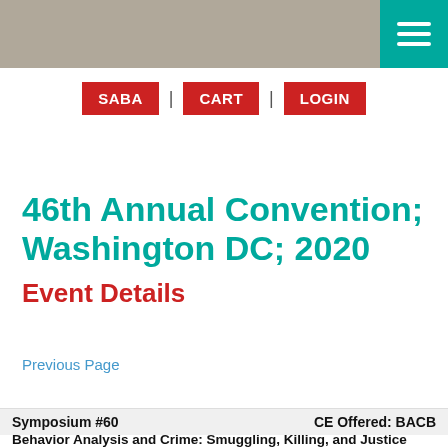SABA | CART | LOGIN
46th Annual Convention; Washington DC; 2020
Event Details
Previous Page
| Symposium #60 | CE Offered: BACB |
| --- | --- |
Behavior Analysis and Crime: Smuggling, Killing, and Justice Systems